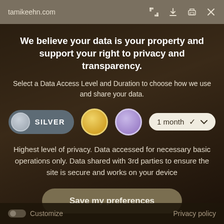tamikeehn.com
We believe your data is your property and support your right to privacy and transparency.
Select a Data Access Level and Duration to choose how we use and share your data.
SILVER | Gold | Purple | 1 month
Highest level of privacy. Data accessed for necessary basic operations only. Data shared with 3rd parties to ensure the site is secure and works on your device
Save my preferences
Customize   Privacy policy